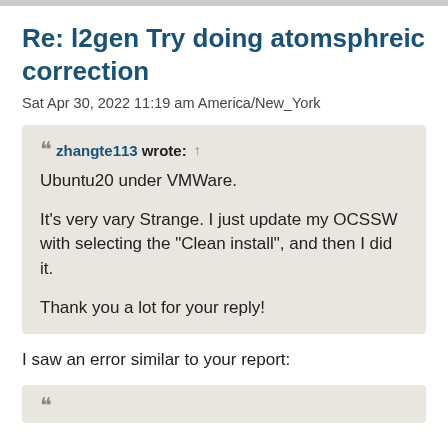Re: l2gen Try doing atomsphreic correction
Sat Apr 30, 2022 11:19 am America/New_York
zhangte113 wrote: ↑
Ubuntu20 under VMWare.

It's very vary Strange. I just update my OCSSW with selecting the "Clean install", and then I did it.

Thank you a lot for your reply!
I saw an error similar to your report:
❝